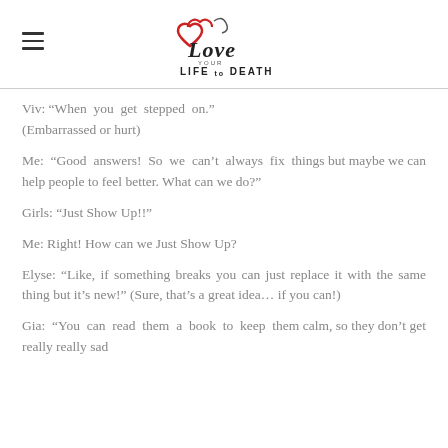Love Your Life to Death
Viv: "When you get stepped on." (Embarrassed or hurt)
Me: "Good answers! So we can't always fix things but maybe we can help people to feel better. What can we do?"
Girls: "Just Show Up!!"
Me: Right! How can we Just Show Up?
Elyse: "Like, if something breaks you can just replace it with the same thing but it's new!" (Sure, that's a great idea… if you can!)
Gia: "You can read them a book to keep them calm, so they don't get really really sad